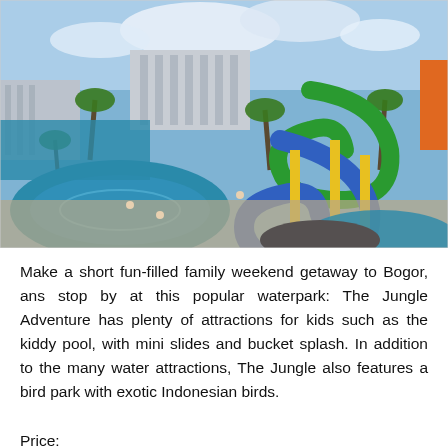[Figure (photo): Aerial fisheye view of a waterpark (The Jungle Adventure) in Bogor, Indonesia, showing water slides including blue and green spiral slides, swimming pools, palm trees, and resort buildings in the background.]
Make a short fun-filled family weekend getaway to Bogor, ans stop by at this popular waterpark: The Jungle Adventure has plenty of attractions for kids such as the kiddy pool, with mini slides and bucket splash. In addition to the many water attractions, The Jungle also features a bird park with exotic Indonesian birds.
Price: